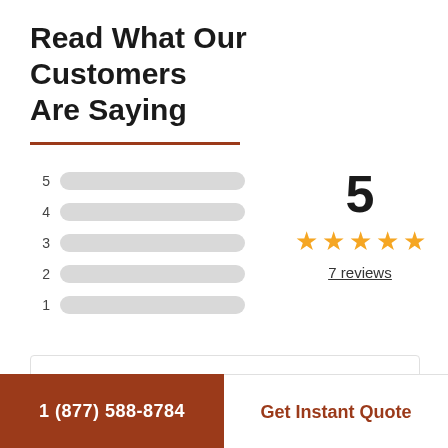Read What Our Customers Are Saying
[Figure (bar-chart): Rating distribution bars]
5
★★★★★
7 reviews
1 (877) 588-8784
Get Instant Quote